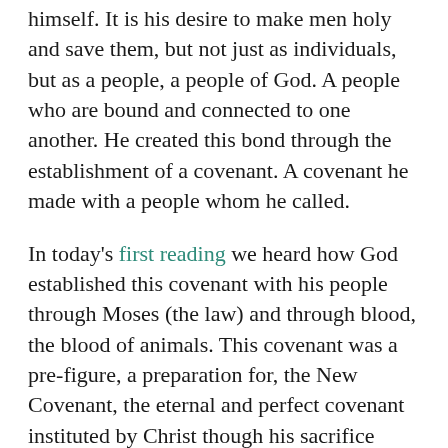himself.  It is his desire to make men holy and save them, but not just as individuals, but as a people, a people of God.  A people who are bound and connected to one another.  He created this bond through the establishment of a covenant.  A covenant he made with a people whom he called.
In today's first reading we heard how God established this covenant with his people through Moses (the law) and through blood, the blood of animals.  This covenant was a pre-figure, a preparation for, the New Covenant, the eternal and perfect covenant instituted by Christ though his sacrifice upon the cross.  This New Covenant, ratified in the blood of Christ, allows all of humanity, both Jew and Gentile, to become one race, not in the flesh, but rather, in Spirit.
As the people of God we perpetuate this mystery, this